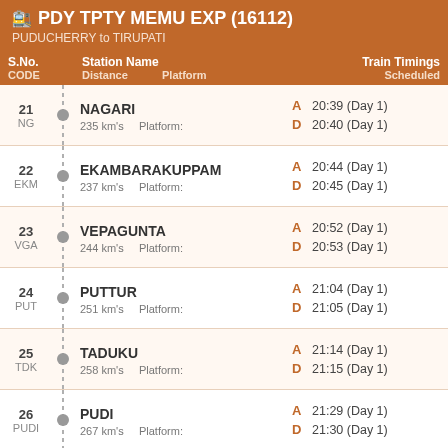PDY TPTY MEMU EXP (16112) — PUDUCHERRY to TIRUPATI
| S.No. / CODE | Station Name / Distance / Platform | Train Timings Scheduled |
| --- | --- | --- |
| 21 / NG | NAGARI / 235 km's / Platform: | A 20:39 (Day 1) / D 20:40 (Day 1) |
| 22 / EKM | EKAMBARAKUPPAM / 237 km's / Platform: | A 20:44 (Day 1) / D 20:45 (Day 1) |
| 23 / VGA | VEPAGUNTA / 244 km's / Platform: | A 20:52 (Day 1) / D 20:53 (Day 1) |
| 24 / PUT | PUTTUR / 251 km's / Platform: | A 21:04 (Day 1) / D 21:05 (Day 1) |
| 25 / TDK | TADUKU / 258 km's / Platform: | A 21:14 (Day 1) / D 21:15 (Day 1) |
| 26 / PUDI | PUDI / 267 km's / Platform: | A 21:29 (Day 1) / D 21:30 (Day 1) |
| 27 | RENIGUNTA JN | A 22:05 (Day 1) |